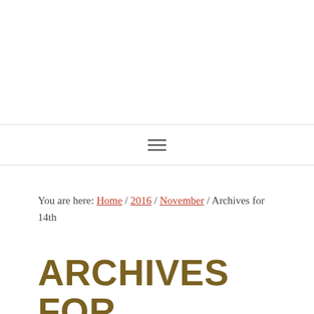You are here: Home / 2016 / November / Archives for 14th
ARCHIVES FOR NOVEMBER 14, 2016